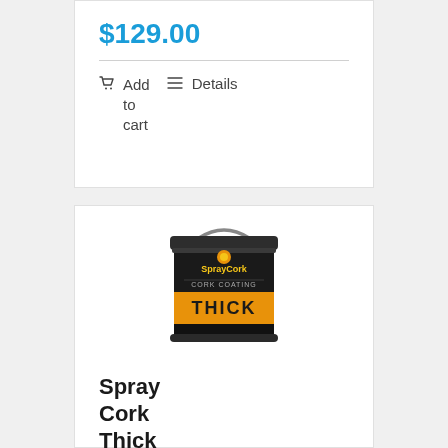$129.00
Add to cart
Details
[Figure (photo): Black cylindrical paint bucket with orange 'THICK' label band and SprayCork branding]
Spray Cork Thick
$159.99
Add
Details